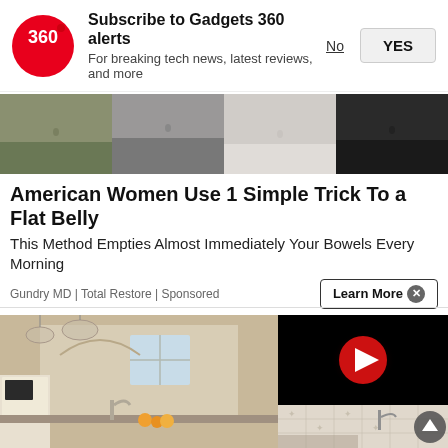[Figure (logo): Gadgets 360 red circle logo with '360' text]
Subscribe to Gadgets 360 alerts
For breaking tech news, latest reviews, and more
No   YES
[Figure (photo): Cropped torsos of four women in athletic/casual wear showing midriff area]
American Women Use 1 Simple Trick To a Flat Belly
This Method Empties Almost Immediately Your Bowels Every Morning
Gundry MD | Total Restore | Sponsored
Learn More ×
[Figure (photo): Kitchen interior with white cabinets, pendant lights, and counter]
[Figure (other): Black video panel with red play button overlay]
[Figure (photo): Kitchen backsplash tile detail with stove]